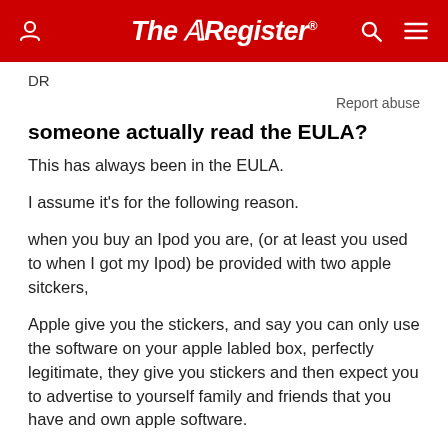The Register
DR
Report abuse
someone actually read the EULA?
This has always been in the EULA.
I assume it's for the following reason.
when you buy an Ipod you are, (or at least you used to when I got my Ipod) be provided with two apple sitckers,
Apple give you the stickers, and say you can only use the software on your apple labled box, perfectly legitimate, they give you stickers and then expect you to advertise to yourself family and friends that you have and own apple software.
those people who have itunes probabl have it to use with their Ipod which (second hand asales aside) should